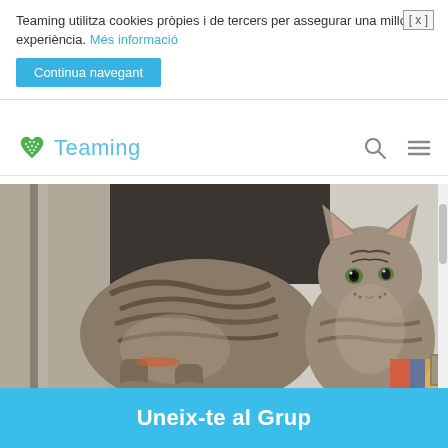Teaming utilitza cookies pròpies i de tercers per assegurar una millor experiència. Més informació
Continua navegant
Teaming
[Figure (photo): Two tabby cats sitting close together indoors, one looking at the camera]
Uneix-te al Grup